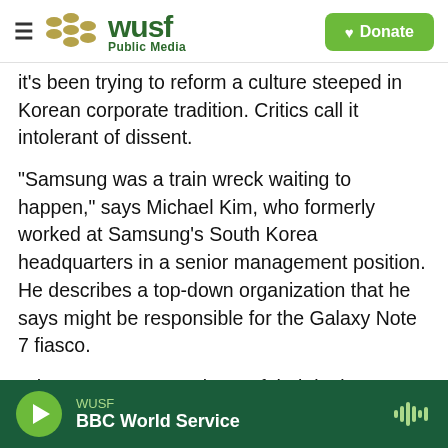WUSF Public Media — Donate
it's been trying to reform a culture steeped in Korean corporate tradition. Critics call it intolerant of dissent.
"Samsung was a train wreck waiting to happen," says Michael Kim, who formerly worked at Samsung's South Korea headquarters in a senior management position. He describes a top-down organization that he says might be responsible for the Galaxy Note 7 fiasco.
"They never expected any of their juniors to ever refuse any request asked of them. So it's basically an order. Anything that your supervisor or boss at
WUSF — BBC World Service